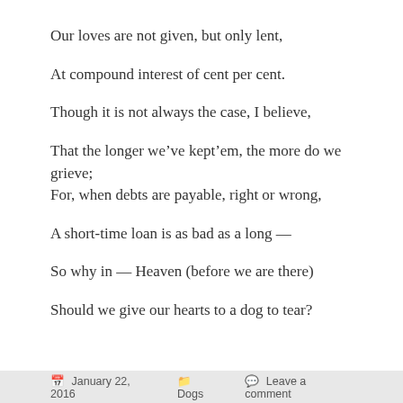Our loves are not given, but only lent,
At compound interest of cent per cent.
Though it is not always the case, I believe,
That the longer we’ve kept’em, the more do we grieve;
For, when debts are payable, right or wrong,
A short-time loan is as bad as a long —
So why in — Heaven (before we are there)
Should we give our hearts to a dog to tear?
January 22, 2016   Dogs   Leave a comment